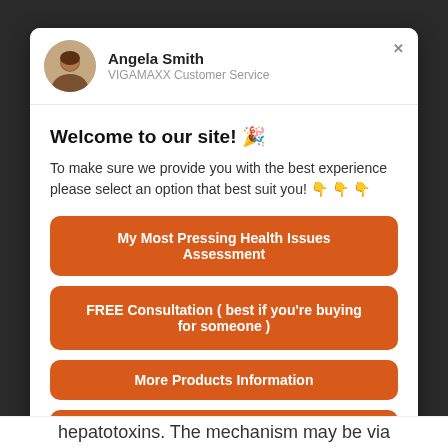[Figure (screenshot): Chat widget modal with customer service agent Angela Smith from VIGAMAXX]
Angela Smith
VIGAMAXX Customer Service
Welcome to our site! 🎉
To make sure we provide you with the best experience please select an option that best suit you! 👇 👇 👇
My Most Pressing Health Issues Assessment
FREE Consultation ( best if you're buying for someone )
More Products Information
Get Promotion & Discount
hepatotoxins. The mechanism may be via